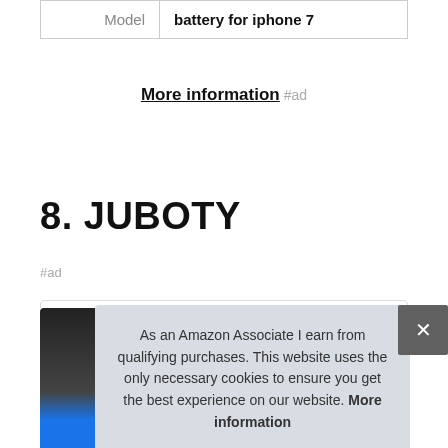| Model | battery for iphone 7 |
More information #ad
8. JUBOTY
#ad
As an Amazon Associate I earn from qualifying purchases. This website uses the only necessary cookies to ensure you get the best experience on our website. More information